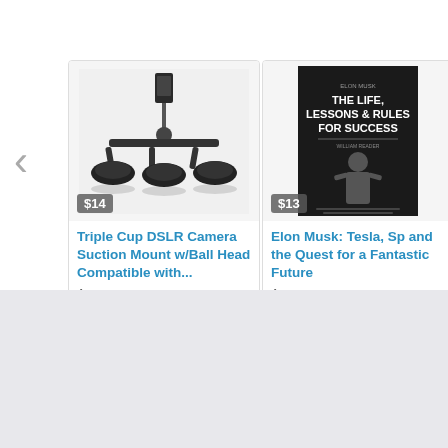[Figure (photo): Product card showing Triple Cup DSLR Camera Suction Mount with ball head, price badge $14]
Triple Cup DSLR Camera Suction Mount w/Ball Head Compatible with...
Amazon
[Figure (photo): Product card showing book cover: Elon Musk: The Life, Lessons & Rules For Success, price badge $13]
Elon Musk: Tesla, Sp and the Quest for a Fantastic Future
Amazon